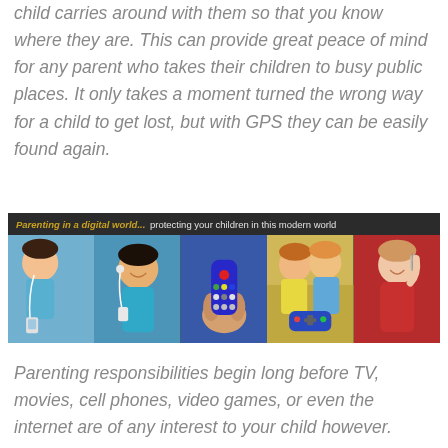child carries around with them so that you know where they are. This can provide great peace of mind for any parent who takes their children to busy public places. It only takes a moment turned the wrong way for a child to get lost, but with GPS they can be easily found again.
[Figure (illustration): Banner image: 'Parenting in a digital world... protecting your children in this modern world' with dark background header and five panels showing children with various technologies (earbuds/phone, remote control, video game controllers, and toy phone).]
Parenting responsibilities begin long before TV, movies, cell phones, video games, or even the internet are of any interest to your child however.